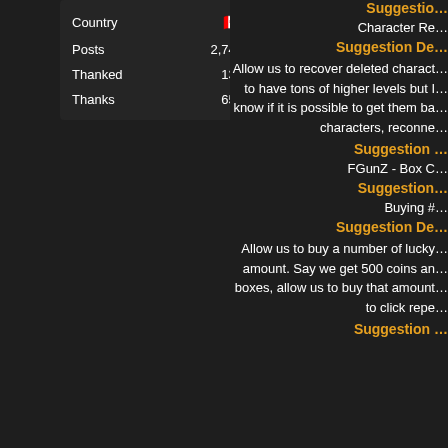| Field | Value |
| --- | --- |
| Country | 🇨🇦 |
| Posts | 2,744 |
| Thanked | 134 |
| Thanks | 657 |
Suggestion De…
Character Re…
Suggestion De…
Allow us to recover deleted charact… to have tons of higher levels but I… know if it is possible to get them ba… characters, reconne…
Suggestion …
FGunZ - Box C…
Suggestion…
Buying #…
Suggestion De…
Allow us to buy a number of lucky… amount. Say we get 500 coins an… boxes, allow us to buy that amount… to click repe…
Suggestion …